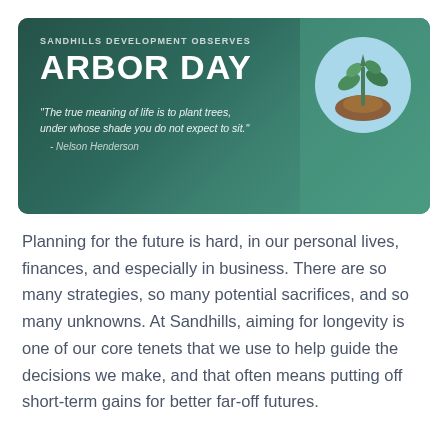[Figure (infographic): Arbor Day infographic card on dark teal background. Top left text reads 'SANDHILLS DEVELOPMENT OBSERVES' and 'ARBOR DAY' in bold white. A quote reads: 'The true meaning of life is to plant trees, under whose shade you do not expect to sit.' attributed to Nelson Henderson. Top right shows a circular illustration of a green seedling sprouting from brown soil on a light blue background.]
Planning for the future is hard, in our personal lives, finances, and especially in business. There are so many strategies, so many potential sacrifices, and so many unknowns. At Sandhills, aiming for longevity is one of our core tenets that we use to help guide the decisions we make, and that often means putting off short-term gains for better far-off futures.